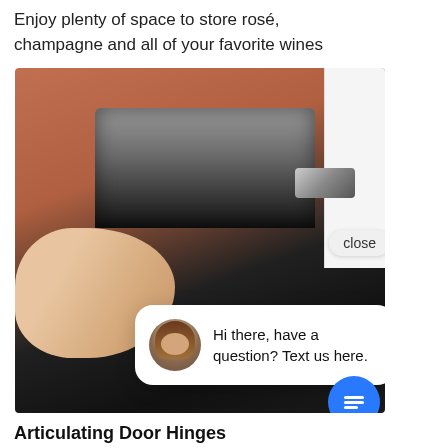Enjoy plenty of space to store rosé, champagne and all of your favorite wines
[Figure (photo): Close-up photo of a hand interacting with a wine cooler door hinge mechanism, showing metallic hardware against a dark appliance body with a white panel on the right. A chat widget overlays the bottom-right corner with a woman's avatar and text 'Hi there, have a question? Text us here.' along with a close button and blue chat icon.]
Articulating Door Hinges